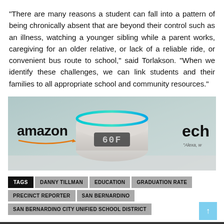“There are many reasons a student can fall into a pattern of being chronically absent that are beyond their control such as an illness, watching a younger sibling while a parent works, caregiving for an older relative, or lack of a reliable ride, or convenient bus route to school,” said Torlakson. “When we identify these challenges, we can link students and their families to all appropriate school and community resources.”
[Figure (photo): Amazon Echo Dot smart speaker advertisement showing the device with a blue ring light on top, displaying 60F on its LED screen. Amazon logo and text on left, 'ech' and 'Alexa, w' text on right side.]
TAGS  DANNY TILLMAN  EDUCATION  GRADUATION RATE  PRECINCT REPORTER  SAN BERNARDINO  SAN BERNARDINO CITY UNIFIED SCHOOL DISTRICT